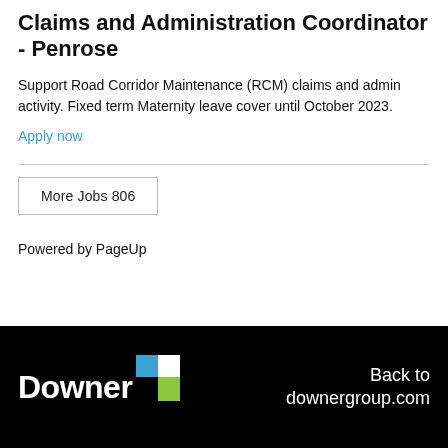Claims and Administration Coordinator - Penrose
Support Road Corridor Maintenance (RCM) claims and admin activity. Fixed term Maternity leave cover until October 2023.
Apply now
More Jobs 806
Powered by PageUp
[Figure (logo): Downer logo with colored icon (blue and green squares) on black background, with 'Back to downergroup.com' text on the right]